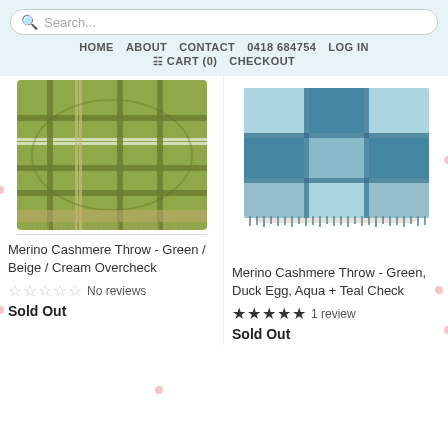Search...
HOME  ABOUT  CONTACT  0418 684754  LOG IN  CART (0)  CHECKOUT
[Figure (photo): Folded green plaid merino cashmere throw blanket with fringe]
Merino Cashmere Throw - Green / Beige / Cream Overcheck
No reviews
Sold Out
[Figure (photo): Folded teal and blue plaid merino cashmere throw blanket with fringe in a basket]
Merino Cashmere Throw - Green, Duck Egg, Aqua + Teal Check
1 review
Sold Out